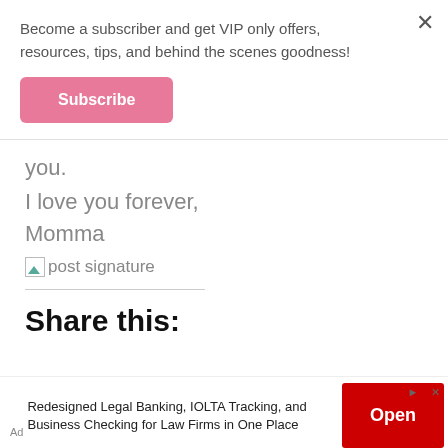Become a subscriber and get VIP only offers, resources, tips, and behind the scenes goodness!
Subscribe
you.
I love you forever,
Momma
[Figure (other): Post signature image placeholder with green triangle icon]
post signature
Share this:
Redesigned Legal Banking, IOLTA Tracking, and Business Checking for Law Firms in One Place